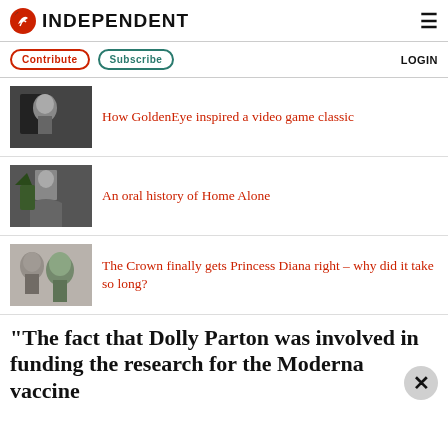INDEPENDENT
How GoldenEye inspired a video game classic
An oral history of Home Alone
The Crown finally gets Princess Diana right – why did it take so long?
“The fact that Dolly Parton was involved in funding the research for the Moderna vaccine